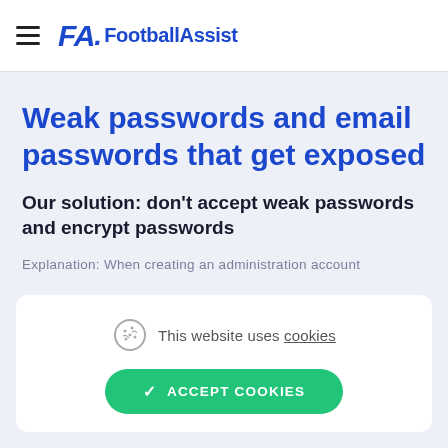FA. FootballAssist
Weak passwords and email passwords that get exposed
Our solution: don't accept weak passwords and encrypt passwords
Explanation: When creating an administration account
This website uses cookies
ACCEPT COOKIES